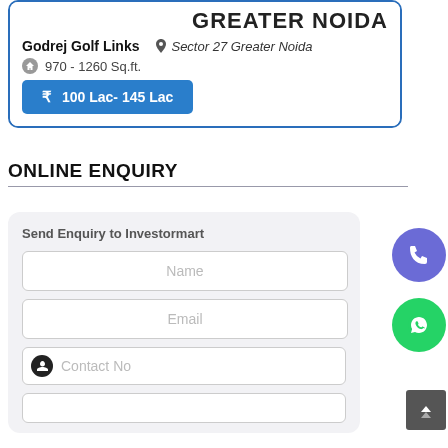[Figure (screenshot): Property listing card for Godrej Golf Links with Greater Noida header, location, size, and price]
GREATER NOIDA
Godrej Golf Links
Sector 27 Greater Noida
970 - 1260 Sq.ft.
100 Lac- 145 Lac
ONLINE ENQUIRY
Send Enquiry to Investormart
Name
Email
Contact No